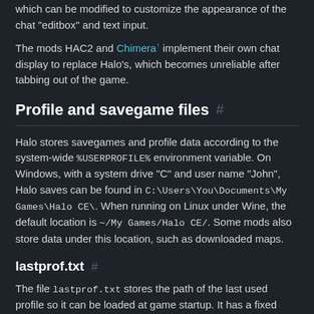which can be modified to customize the appearance of the chat "editbox" and text input.
The mods HAC2 and Chimera implement their own chat display to replace Halo's, which becomes unreliable after tabbing out of the game.
Profile and savegame files
Halo stores savegames and profile data according to the system-wide %USERPROFILE% environment variable. On Windows, with a system drive "C" and user name "John", Halo saves can be found in C:\Users\You\Documents\My Games\Halo CE\. When running on Linux under Wine, the default location is ~/My Games/Halo CE/. Some mods also store data under this location, such as downloaded maps.
lastprof.txt
The file lastprof.txt stores the path of the last used profile so it can be loaded at game startup. It has a fixed length of 256 bytes and a very simple structure:
An ASCII-encoded absolute filesystem path to a profile